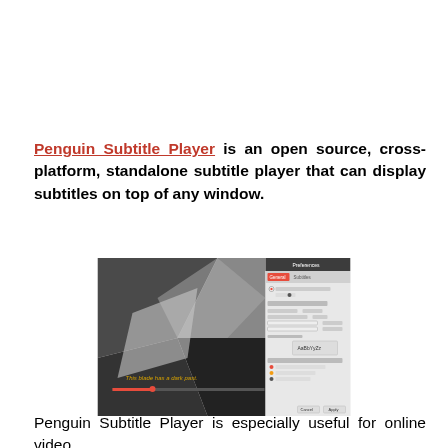Penguin Subtitle Player is an open source, cross-platform, standalone subtitle player that can display subtitles on top of any window.
[Figure (screenshot): Screenshot of Penguin Subtitle Player showing a video player with dark geometric background and subtitle text 'This blade has a dark past.' overlaid, alongside an application settings/preferences window panel.]
Penguin Subtitle Player is especially useful for online video